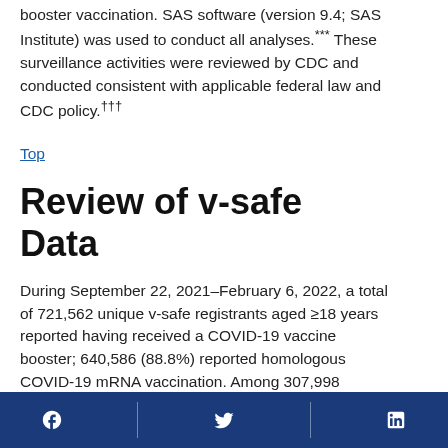booster vaccination. SAS software (version 9.4; SAS Institute) was used to conduct all analyses.*** These surveillance activities were reviewed by CDC and conducted consistent with applicable federal law and CDC policy.†††
Top
Review of v-safe Data
During September 22, 2021–February 6, 2022, a total of 721,562 unique v-safe registrants aged ≥18 years reported having received a COVID-19 vaccine booster; 640,586 (88.8%) reported homologous COVID-19 mRNA vaccination. Among 307,998 registrants who reported a homologous Moderna booster, local and systemic reactions were less
Facebook | Twitter | LinkedIn